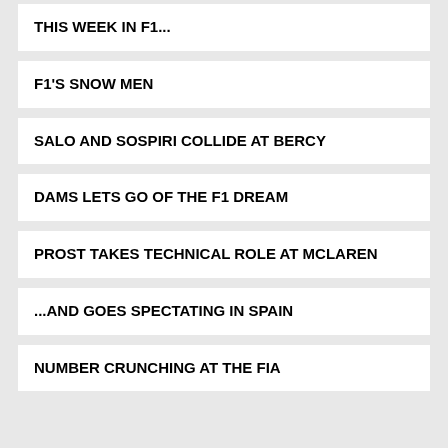THIS WEEK IN F1...
F1'S SNOW MEN
SALO AND SOSPIRI COLLIDE AT BERCY
DAMS LETS GO OF THE F1 DREAM
PROST TAKES TECHNICAL ROLE AT MCLAREN
...AND GOES SPECTATING IN SPAIN
NUMBER CRUNCHING AT THE FIA